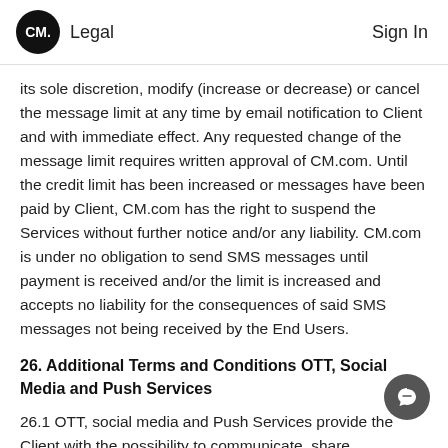CM. Legal   Sign In
its sole discretion, modify (increase or decrease) or cancel the message limit at any time by email notification to Client and with immediate effect. Any requested change of the message limit requires written approval of CM.com. Until the credit limit has been increased or messages have been paid by Client, CM.com has the right to suspend the Services without further notice and/or any liability. CM.com is under no obligation to send SMS messages until payment is received and/or the limit is increased and accepts no liability for the consequences of said SMS messages not being received by the End Users.
26. Additional Terms and Conditions OTT, Social Media and Push Services
26.1 OTT, social media and Push Services provide the Client with the possibility to communicate, share information with, and regarding individual End Users using OTT, social media applications and/or in-app push